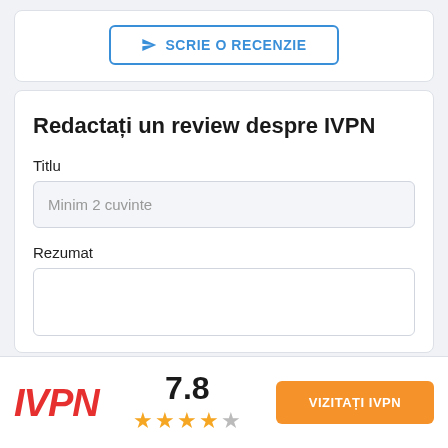SCRIE O RECENZIE
Redactați un review despre IVPN
Titlu
Minim 2 cuvinte
Rezumat
[Figure (logo): IVPN logo in red italic bold text]
7.8
VIZITAȚI IVPN